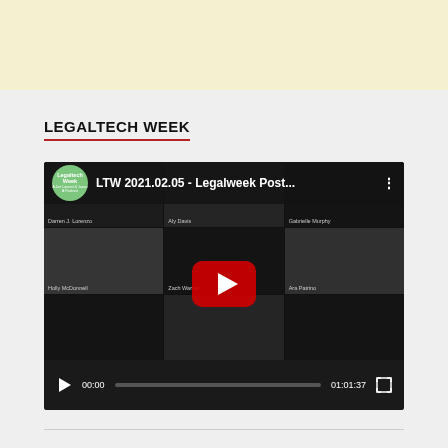LEGALTECH WEEK
[Figure (screenshot): YouTube video player showing 'LTW 2021.02.05 - Legalweek Post...' with Legaltech Week podcast logo, video grid of multiple participants' faces, large red play button in center, and video controls showing 00:00 / 01:01:37]